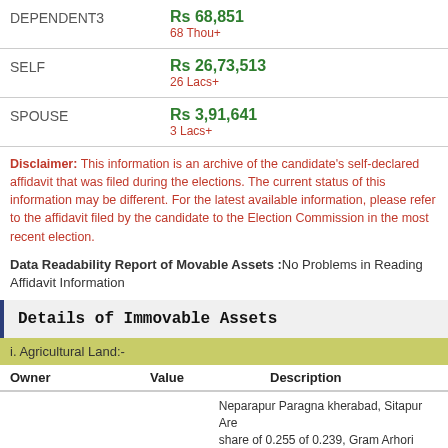|  | Amount |  |
| --- | --- | --- |
| DEPENDENT3 | Rs 68,851 | 68 Thou+ |
| SELF | Rs 26,73,513 | 26 Lacs+ |
| SPOUSE | Rs 3,91,641 | 3 Lacs+ |
Disclaimer: This information is an archive of the candidate's self-declared affidavit that was filed during the elections. The current status of this information may be different. For the latest available information, please refer to the affidavit filed by the candidate to the Election Commission in the most recent election.
Data Readability Report of Movable Assets :No Problems in Reading Affidavit Information
Details of Immovable Assets
i. Agricultural Land:-
| Owner | Value | Description |
| --- | --- | --- |
|  |  | Neparapur Paragna kherabad, Sitapur Area= 1/2 share of 0.255 of 0.239, Gram Arhori Semapur Paragna Area= 1/2 share of 0.425+0.138=0.281hactare, Ahrori Semary Paragna Area 1/4 share of 2.055+2.205+0.125+0.101+0.109+0.992- |